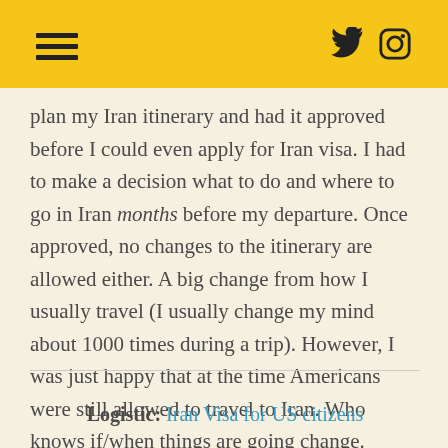[hamburger menu icon] [twitter icon] [instagram icon]
plan my Iran itinerary and had it approved before I could even apply for Iran visa. I had to make a decision what to do and where to go in Iran months before my departure. Once approved, no changes to the itinerary are allowed either. A big change from how I usually travel (I usually change my mind about 1000 times during a trip). However, I was just happy that at the time Americans were still allowed to travel to Iran. Who knows if/when things are going change.
Logistic: Iran Visa for US citizens